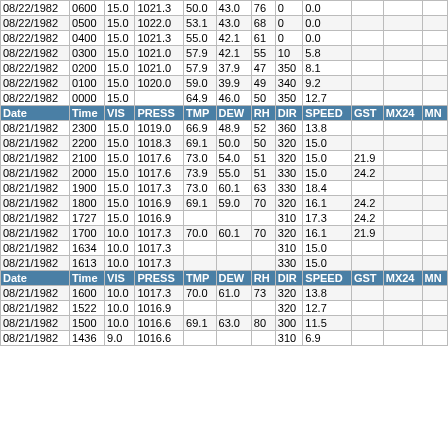| Date | Time | VIS | PRESS | TMP | DEW | RH | DIR | SPEED | GST | MX24 | MN |
| --- | --- | --- | --- | --- | --- | --- | --- | --- | --- | --- | --- |
| 08/22/1982 | 0600 | 15.0 | 1021.3 | 50.0 | 43.0 | 76 | 0 | 0.0 |  |  |  |
| 08/22/1982 | 0500 | 15.0 | 1022.0 | 53.1 | 43.0 | 68 | 0 | 0.0 |  |  |  |
| 08/22/1982 | 0400 | 15.0 | 1021.3 | 55.0 | 42.1 | 61 | 0 | 0.0 |  |  |  |
| 08/22/1982 | 0300 | 15.0 | 1021.0 | 57.9 | 42.1 | 55 | 10 | 5.8 |  |  |  |
| 08/22/1982 | 0200 | 15.0 | 1021.0 | 57.9 | 37.9 | 47 | 350 | 8.1 |  |  |  |
| 08/22/1982 | 0100 | 15.0 | 1020.0 | 59.0 | 39.9 | 49 | 340 | 9.2 |  |  |  |
| 08/22/1982 | 0000 | 15.0 |  | 64.9 | 46.0 | 50 | 350 | 12.7 |  |  |  |
| Date | Time | VIS | PRESS | TMP | DEW | RH | DIR | SPEED | GST | MX24 | MN |
| 08/21/1982 | 2300 | 15.0 | 1019.0 | 66.9 | 48.9 | 52 | 360 | 13.8 |  |  |  |
| 08/21/1982 | 2200 | 15.0 | 1018.3 | 69.1 | 50.0 | 50 | 320 | 15.0 |  |  |  |
| 08/21/1982 | 2100 | 15.0 | 1017.6 | 73.0 | 54.0 | 51 | 320 | 15.0 | 21.9 |  |  |
| 08/21/1982 | 2000 | 15.0 | 1017.6 | 73.9 | 55.0 | 51 | 330 | 15.0 | 24.2 |  |  |
| 08/21/1982 | 1900 | 15.0 | 1017.3 | 73.0 | 60.1 | 63 | 330 | 18.4 |  |  |  |
| 08/21/1982 | 1800 | 15.0 | 1016.9 | 69.1 | 59.0 | 70 | 320 | 16.1 | 24.2 |  |  |
| 08/21/1982 | 1727 | 15.0 | 1016.9 |  |  |  | 310 | 17.3 | 24.2 |  |  |
| 08/21/1982 | 1700 | 10.0 | 1017.3 | 70.0 | 60.1 | 70 | 320 | 16.1 | 21.9 |  |  |
| 08/21/1982 | 1634 | 10.0 | 1017.3 |  |  |  | 310 | 15.0 |  |  |  |
| 08/21/1982 | 1613 | 10.0 | 1017.3 |  |  |  | 330 | 15.0 |  |  |  |
| Date | Time | VIS | PRESS | TMP | DEW | RH | DIR | SPEED | GST | MX24 | MN |
| 08/21/1982 | 1600 | 10.0 | 1017.3 | 70.0 | 61.0 | 73 | 320 | 13.8 |  |  |  |
| 08/21/1982 | 1522 | 10.0 | 1016.9 |  |  |  | 320 | 12.7 |  |  |  |
| 08/21/1982 | 1500 | 10.0 | 1016.6 | 69.1 | 63.0 | 80 | 300 | 11.5 |  |  |  |
| 08/21/1982 | 1436 | 9.0 | 1016.6 |  |  |  | 310 | 6.9 |  |  |  |